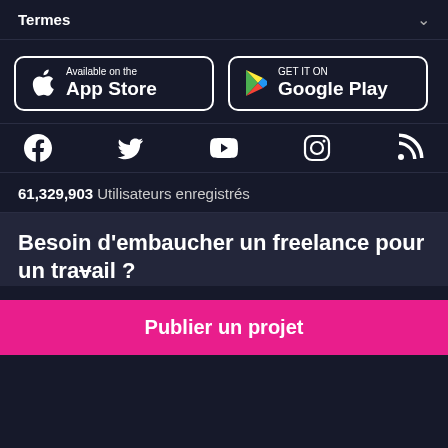Termes
[Figure (logo): App Store download button with Apple logo]
[Figure (logo): Google Play download button with Play logo]
[Figure (infographic): Social media icons row: Facebook, Twitter, YouTube, Instagram, RSS]
61,329,903 Utilisateurs enregistrés
Besoin d'embaucher un freelance pour un travail ?
Publier un projet